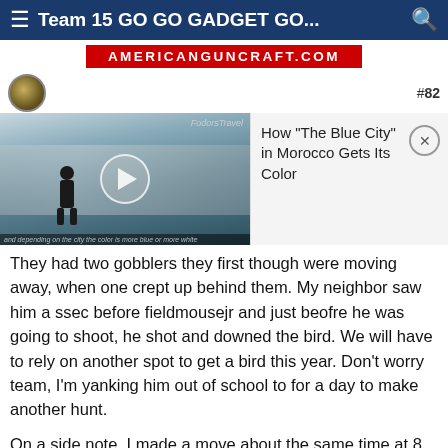≡ Team 15 GO GO GADGET GO... 🔍
[Figure (screenshot): AMERICANGUNCRAFT.COM banner in red with white bold uppercase text]
[Figure (screenshot): Video thumbnail showing a street in 'The Blue City' Morocco with a play button, Fodors Travel label, and a popup card with title 'How "The Blue City" in Morocco Gets Its Color' and a close X button. #82 in top right.]
They had two gobblers they first though were moving away, when one crept up behind them. My neighbor saw him a ssec before fieldmousejr and just beofre he was going to shoot, he shot and downed the bird. We will have to rely on another spot to get a bird this year. Don't worry team, I'm yanking him out of school to for a day to make another hunt.
On a side note, I made a move about the same time at 8 because not much was happening at our first spot. We croosed a beaver dam on the way to another powerline